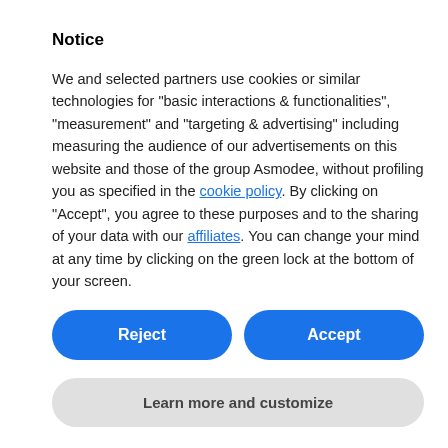Notice
We and selected partners use cookies or similar technologies for “basic interactions & functionalities”, “measurement” and “targeting & advertising” including measuring the audience of our advertisements on this website and those of the group Asmodee, without profiling you as specified in the cookie policy. By clicking on "Accept", you agree to these purposes and to the sharing of your data with our affiliates. You can change your mind at any time by clicking on the green lock at the bottom of your screen.
Reject
Accept
Learn more and customize
Of course, the world of The Witcher is filled with peril. Today, we examine both the monsters and the foul fate that may plague